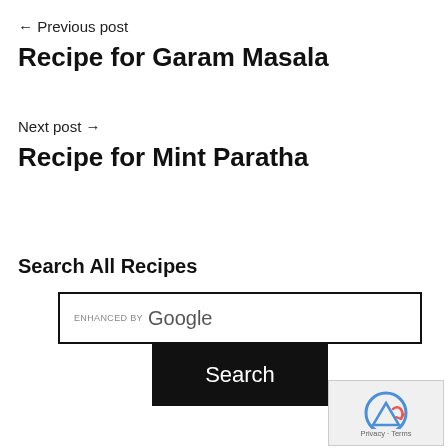← Previous post
Recipe for Garam Masala
Next post →
Recipe for Mint Paratha
Search All Recipes
[Figure (screenshot): Google enhanced search box with Search button]
Food Categories